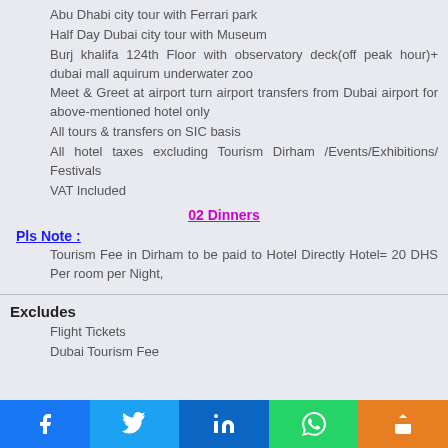Abu Dhabi city tour with Ferrari park
Half Day Dubai city tour with Museum
Burj khalifa 124th Floor with observatory deck(off peak hour)+ dubai mall aquirum underwater zoo
Meet & Greet at airport turn airport transfers from Dubai airport for above-mentioned hotel only
All tours & transfers on SIC basis
All hotel taxes excluding Tourism Dirham /Events/Exhibitions/ Festivals
VAT Included
02 Dinners
Pls Note :
Tourism Fee in Dirham to be paid to Hotel Directly Hotel= 20 DHS Per room per Night,
Excludes
Flight Tickets
Dubai Tourism Fee